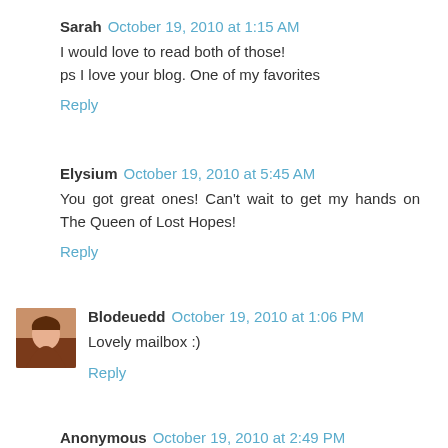Sarah  October 19, 2010 at 1:15 AM
I would love to read both of those!
ps I love your blog. One of my favorites
Reply
Elysium  October 19, 2010 at 5:45 AM
You got great ones! Can't wait to get my hands on The Queen of Lost Hopes!
Reply
Blodeuedd  October 19, 2010 at 1:06 PM
Lovely mailbox :)
Reply
Anonymous  October 19, 2010 at 2:49 PM
You got good stuff!! enjoy your loot!